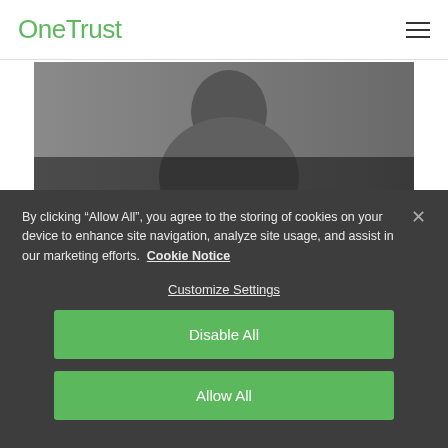OneTrust
[Figure (photo): Hero image of a person (partially visible) with dark overlay, containing article title text]
DHL Increases CMP Opt-in Rates with A/B Testing and OneTrust PreferenceChoice
By clicking “Allow All”, you agree to the storing of cookies on your device to enhance site navigation, analyze site usage, and assist in our marketing efforts. Cookie Notice
Customize Settings
Disable All
Allow All